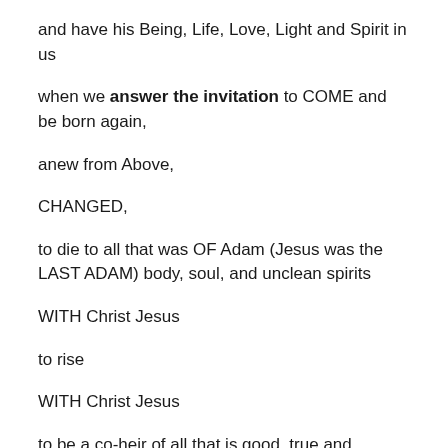and have his Being, Life, Love, Light and Spirit in us
when we answer the invitation to COME and be born again,
anew from Above,
CHANGED,
to die to all that was OF Adam (Jesus was the LAST ADAM) body, soul, and unclean spirits
WITH Christ Jesus
to rise
WITH Christ Jesus
to be a co-heir of all that is good, true and righteous